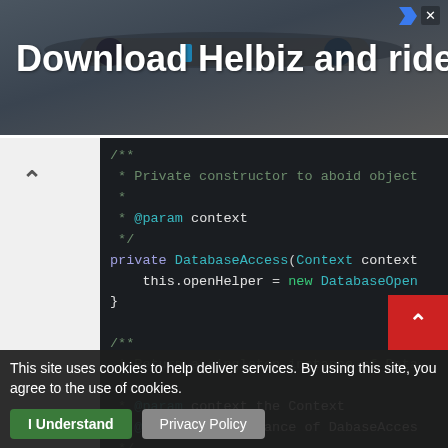[Figure (screenshot): Advertisement banner: 'Download Helbiz and ride' with scooter handlebar background image and close button]
[Figure (screenshot): Code editor screenshot showing Java code with a private DatabaseAccess constructor and a singleton pattern comment block, dark theme IDE]
This site uses cookies to help deliver services. By using this site, you agree to the use of cookies.
I Understand   Privacy Policy